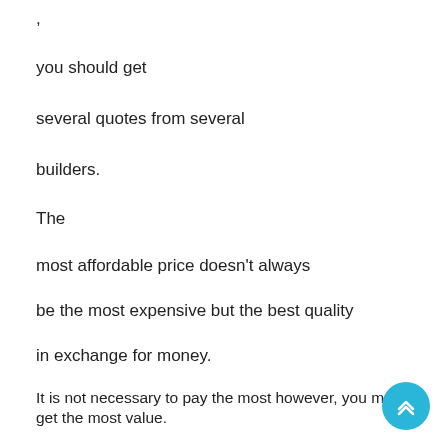,
you should get
several quotes from several
builders.
The
most affordable price doesn't always
be the most expensive but the best quality
in exchange for money.
It is not necessary to pay the most however, you must get the most value.
But estimates built on incomplete data may
be
inaccurate , and thus
insufficient to help you plan